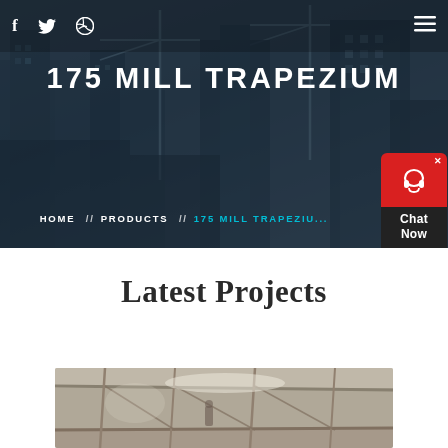175 MILL TRAPEZIUM
[Figure (photo): Dark photo of urban construction site with cranes and tall buildings under a blue-grey sky]
175 MILL TRAPEZIUM
HOME // PRODUCTS // 175 MILL TRAPEZIUM
[Figure (other): Red chat widget with headset icon and 'Chat Now' label]
Latest Projects
[Figure (photo): Interior construction or industrial building image showing structural beams and scaffolding]